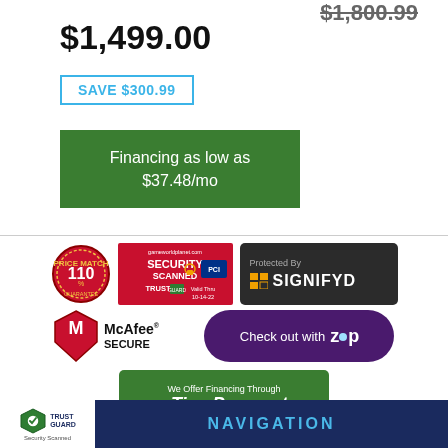$1,800.99 (strikethrough)
$1,499.00
SAVE $300.99
Financing as low as $37.48/mo
[Figure (logo): Security trust badges: Price Match 110% Guarantee, gameworldplanet.com Security Scanned Trust Guard valid thru 10-14-22, Protected By SIGNIFYD]
[Figure (logo): McAfee SECURE badge and Check out with Zip button]
[Figure (logo): We Offer Financing Through TimePayment green badge]
[Figure (logo): Trust Guard Security Scanned footer badge]
NAVIGATION